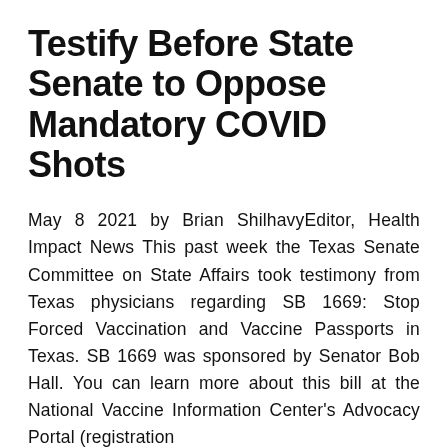Testify Before State Senate to Oppose Mandatory COVID Shots
May 8 2021 by Brian ShilhavyEditor, Health Impact News This past week the Texas Senate Committee on State Affairs took testimony from Texas physicians regarding SB 1669: Stop Forced Vaccination and Vaccine Passports in Texas. SB 1669 was sponsored by Senator Bob Hall. You can learn more about this bill at the National Vaccine Information Center's Advocacy Portal (registration
Continue reading →
rightsfreedoms   May 11, 2021   Uncategorized